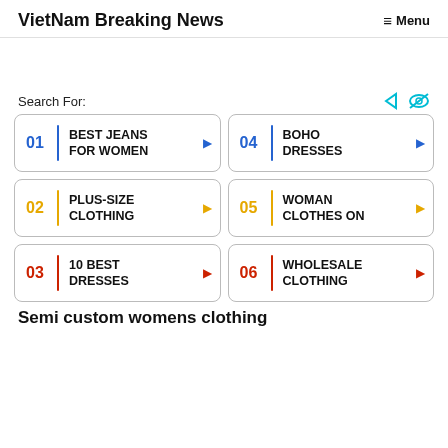VietNam Breaking News  ≡ Menu
Search For:
01 BEST JEANS FOR WOMEN
02 PLUS-SIZE CLOTHING
03 10 BEST DRESSES
04 BOHO DRESSES
05 WOMAN CLOTHES ON
06 WHOLESALE CLOTHING
Semi custom womens clothing